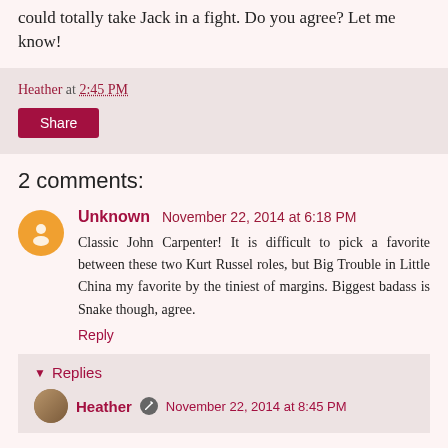could totally take Jack in a fight. Do you agree? Let me know!
Heather at 2:45 PM
Share
2 comments:
Unknown  November 22, 2014 at 6:18 PM
Classic John Carpenter! It is difficult to pick a favorite between these two Kurt Russel roles, but Big Trouble in Little China my favorite by the tiniest of margins. Biggest badass is Snake though, agree.
Reply
Replies
Heather  November 22, 2014 at 8:45 PM